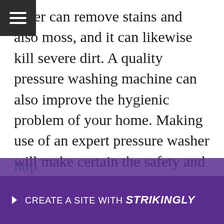asher can remove stains and also moss, and it can likewise kill severe dirt. A quality pressure washing machine can also improve the hygienic problem of your home. Making use of an expert pressure washer will make certain the safety and security of your family members as well as your house. You will be able to delight in the outcomes of your new house in no time at all. The advantages of an excellent pressure cleaning service are immense. Check out this post for more details related to this article
http...